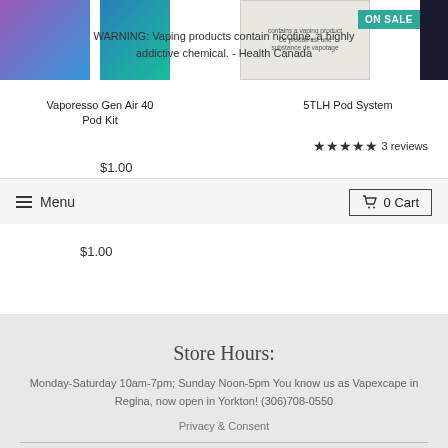[Figure (screenshot): Product images row showing vape devices including a purple/blue device, blue device, a health Canada warning label, and a dark device, with ON SALE badge]
WARNING: Vaping products contain nicotine, a highly addictive chemical. - Health Canada
Vaporesso Gen Air 40 Pod Kit
5TLH Pod System
3 reviews
$1.00
Menu   0 Cart
Store Hours:
Monday-Saturday 10am-7pm; Sunday Noon-5pm You know us as Vapexcape in Regina, now open in Yorkton! (306)708-0550
Privacy & Consent
Featured collections